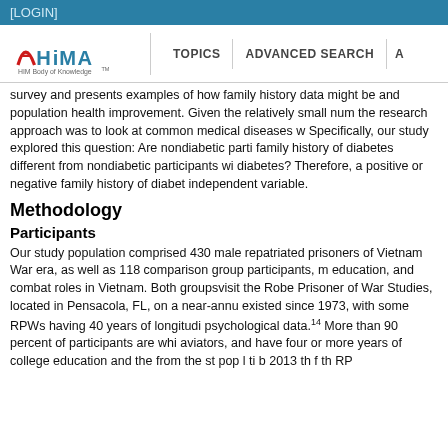[LOGIN]
[Figure (logo): AHIMA HIM Body of Knowledge logo with navigation bar showing TOPICS and ADVANCED SEARCH]
survey and presents examples of how family history data might be used for and population health improvement. Given the relatively small number of the research approach was to look at common medical diseases w. Specifically, our study explored this question: Are nondiabetic participants with a family history of diabetes different from nondiabetic participants with no family history of diabetes? Therefore, a positive or negative family history of diabetes was the independent variable.
Methodology
Participants
Our study population comprised 430 male repatriated prisoners of war from the Vietnam War era, as well as 118 comparison group participants, m education, and combat roles in Vietnam. Both groupsvisit the Rober Prisoner of War Studies, located in Pensacola, FL, on a near-annu existed since 1973, with some RPWs having 40 years of longitudin psychological data.14 More than 90 percent of participants are whi aviators, and have four or more years of college education and the from the st pop l ti b 2013 th f th RP